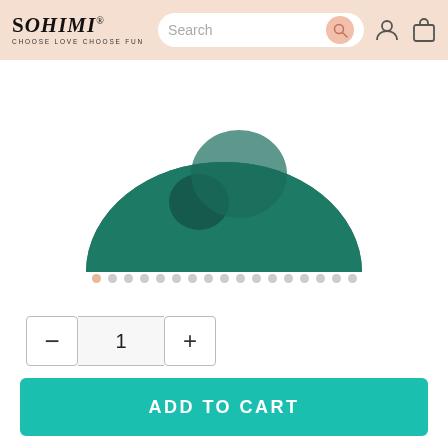[Figure (logo): Sohimi logo with tagline CHOOSE LOVE CHOOSE FUN and search bar with user/cart icons on a peach/beige header]
[Figure (photo): Dark teal/green rounded product (top portion of a disc-shaped object) on white background]
[Figure (other): Row of 17 image navigation dots, first dot highlighted in peach/tan color]
1
£39.99
ADD TO CART